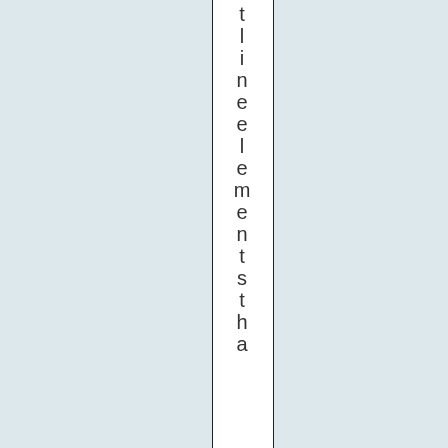t li n e e l e m e n t s t h a